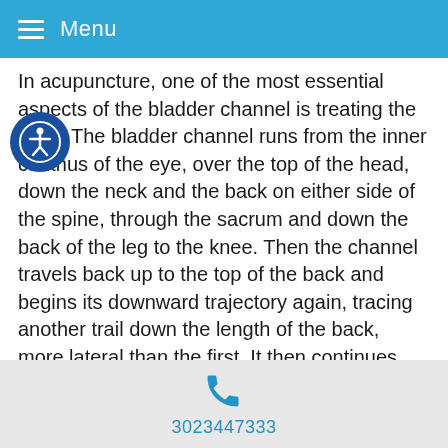Menu
In acupuncture, one of the most essential aspects of the bladder channel is treating the back. The bladder channel runs from the inner canthus of the eye, over the top of the head, down the neck and the back on either side of the spine, through the sacrum and down the back of the leg to the knee. Then the channel travels back up to the top of the back and begins its downward trajectory again, tracing another trail down the length of the back, more lateral than the first. It then continues down the back of the leg to the outside of the pinky toe. The bladder channels trajectory makes it a powerful channel for treating most kinds of neck, back, sacral, hamstring, calf and achilles pain. It is particularly helpful when there is a pain condition affecting more than one of these sites.
[Figure (other): Accessibility icon - person in circle logo]
3023447333